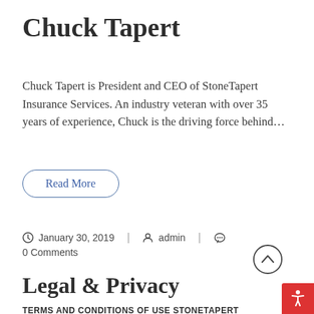Chuck Tapert
Chuck Tapert is President and CEO of StoneTapert Insurance Services. An industry veteran with over 35 years of experience, Chuck is the driving force behind...
Read More
January 30, 2019 | admin | 0 Comments
Legal & Privacy
TERMS AND CONDITIONS OF USE StoneTapert